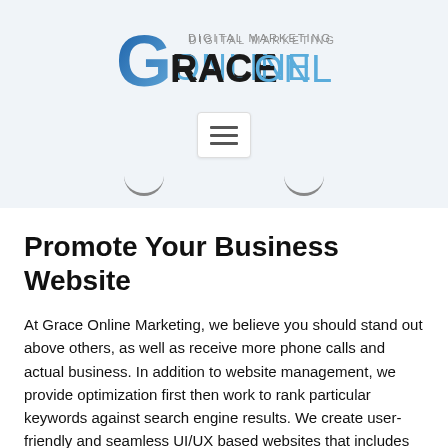[Figure (logo): Grace Online Digital Marketing logo with a blue G icon and the text GRACE ONLINE with DIGITAL MARKETING above]
[Figure (other): Hamburger menu icon button (three horizontal lines)]
[Figure (other): Two small arc/chevron shapes suggesting dropdown arrows or decorative UI elements]
Promote Your Business Website
At Grace Online Marketing, we believe you should stand out above others, as well as receive more phone calls and actual business. In addition to website management, we provide optimization first then work to rank particular keywords against search engine results. We create user-friendly and seamless UI/UX based websites that includes